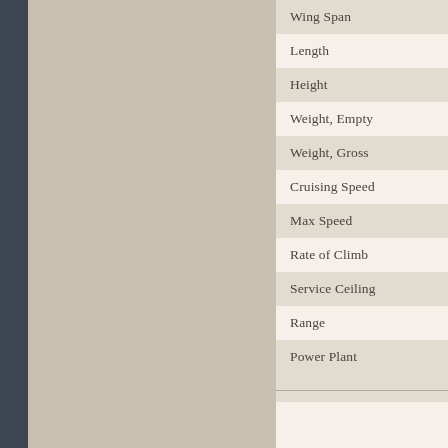Wing Span
Length
Height
Weight, Empty
Weight, Gross
Cruising Speed
Max Speed
Rate of Climb
Service Ceiling
Range
Power Plant